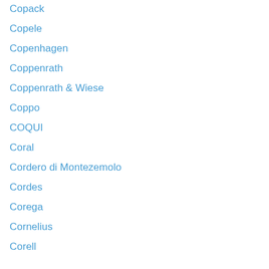Copack
Copele
Copenhagen
Coppenrath
Coppenrath & Wiese
Coppo
COQUI
Coral
Cordero di Montezemolo
Cordes
Corega
Cornelius
Corell...